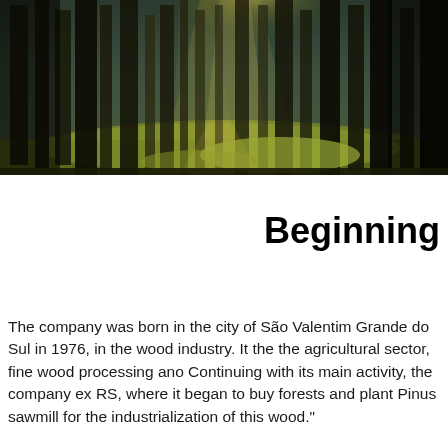[Figure (photo): A forest scene with tall pine trees, sunlight filtering through the canopy onto a mossy green forest floor, with a path visible between the trees. The image has a dark, atmospheric quality with golden light rays.]
Beginning
The company was born in the city of São Valentim Grande do Sul in 1976, in the wood industry. It then the agricultural sector, fine wood processing and Continuing with its main activity, the company ex RS, where it began to buy forests and plant Pinu sawmill for the industrialization of this wood.